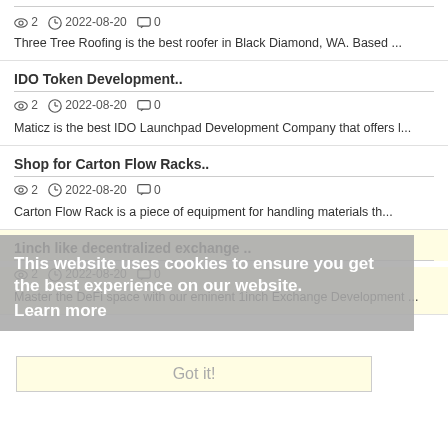Three Tree Roofing is the best roofer in Black Diamond, WA. Based ...
IDO Token Development..
2  2022-08-20  0
Maticz is the best IDO Launchpad Development Company that offers l...
Shop for Carton Flow Racks..
2  2022-08-20  0
Carton Flow Rack is a piece of equipment for handling materials th...
This website uses cookies to ensure you get the best experience on our website.
Learn more
1inch like decentralized exchange ..
Got it!
2  2022-08-20  0
Master the DeFi space with our eminent 1inch Exchange Development ...